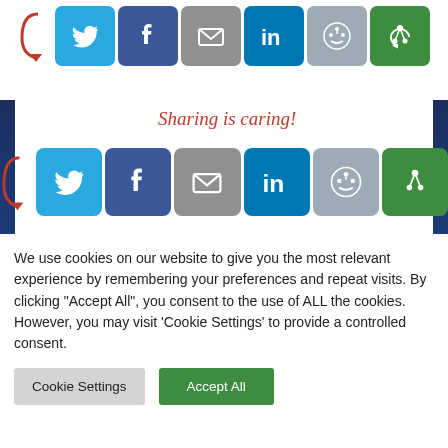[Figure (screenshot): Top row of social share buttons: Twitter, Facebook, Email, LinkedIn, Reddit, and a green share button, displayed over a dark blue background]
Sharing is caring!
[Figure (screenshot): Second row of social share buttons: Twitter, Facebook, Email, LinkedIn, Reddit, and a green share button, with a red curly arrow pointing to them]
FILED UNDER: FEATURED
TAGGED WITH: BITCOIN, CRYPTO, DOMINANT, GOLD, REPLACE, STORE, TRACK, VALUE
We use cookies on our website to give you the most relevant experience by remembering your preferences and repeat visits. By clicking "Accept All", you consent to the use of ALL the cookies. However, you may visit 'Cookie Settings' to provide a controlled consent.
Cookie Settings | Accept All